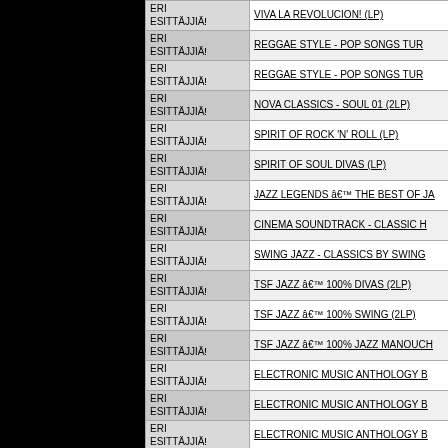| Artist | Title |
| --- | --- |
| ERI ESITTÄJJIÄ | VIVA LA REVOLUCION! (LP) |
| ERI ESITTÄJJIÄ | REGGAE STYLE - POP SONGS TUR |
| ERI ESITTÄJJIÄ | REGGAE STYLE - POP SONGS TUR |
| ERI ESITTÄJJIÄ | NOVA CLASSICS - SOUL 01 (2LP) |
| ERI ESITTÄJJIÄ | SPIRIT OF ROCK 'N' ROLL (LP) |
| ERI ESITTÄJJIÄ | SPIRIT OF SOUL DIVAS (LP) |
| ERI ESITTÄJJIÄ | JAZZ LEGENDS â THE BEST OF JA |
| ERI ESITTÄJJIÄ | CINEMA SOUNDTRACK - CLASSIC H |
| ERI ESITTÄJJIÄ | SWING JAZZ - CLASSICS BY SWING |
| ERI ESITTÄJJIÄ | TSF JAZZ â 100% DIVAS (2LP) |
| ERI ESITTÄJJIÄ | TSF JAZZ â 100% SWING (2LP) |
| ERI ESITTÄJJIÄ | TSF JAZZ â 100% JAZZ MANOUCH |
| ERI ESITTÄJJIÄ | ELECTRONIC MUSIC ANTHOLOGY B |
| ERI ESITTÄJJIÄ | ELECTRONIC MUSIC ANTHOLOGY B |
| ERI ESITTÄJJIÄ | ELECTRONIC MUSIC ANTHOLOGY B |
| ERI ESITTÄJJIÄ | JAZZ â TIMELESS CLASSICS FRO |
| ERI ESITTÄJJIÄ | SOUL â TIMELESS CLASSICS FRO |
| ERI ESITTÄJJIÄ | REGGAE GREATEST HITS (3CD) |